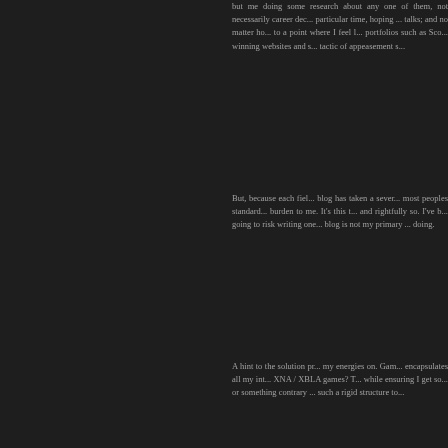but me doing some research about any one of them, not necessarily career decisions at a particular time, hoping to spark talks; and no matter how I came to a point where I feel I need portfolios such as Sco... winning websites and s... tactic of appeasement s...
But, because each fiel... blog has taken a sever... most peoples standard... burden to me. It's this t... and rightfully so. I've b... going to risk writing one... blog is not my primary ... doing.
A hint to the solution pr... my energies on. Gam... encapsulates all my int... XNA / XBLA games? T... while ensuring I get so... or something contrary ... such a rigid structure to...